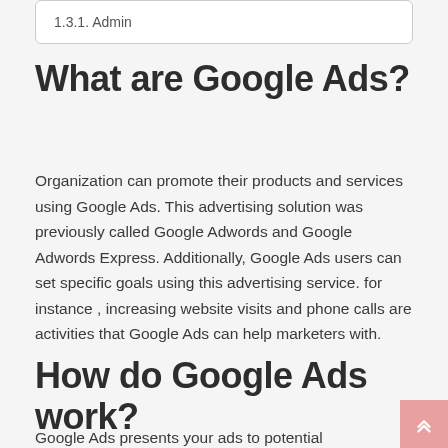1.3.1.  Admin
What are Google Ads?
Organization can promote their products and services using Google Ads. This advertising solution was previously called Google Adwords and Google Adwords Express. Additionally, Google Ads users can set specific goals using this advertising service. for instance , increasing website visits and phone calls are activities that Google Ads can help marketers with.
How do Google Ads work?
Google Ads presents your ads to potential